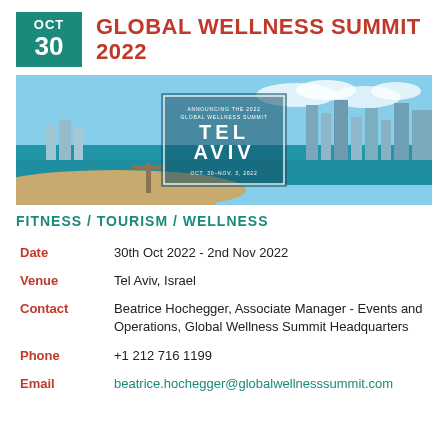OCT 30 GLOBAL WELLNESS SUMMIT 2022
[Figure (photo): Aerial photo of Tel Aviv coastline with city skyline, beach and sea. Overlaid white-bordered box announcing the 2022 Global Wellness Summit in Tel Aviv, Oct. 30–Nov. 3, 2022.]
FITNESS / TOURISM / WELLNESS
| Date | 30th Oct 2022 - 2nd Nov 2022 |
| Venue | Tel Aviv, Israel |
| Contact | Beatrice Hochegger, Associate Manager - Events and Operations, Global Wellness Summit Headquarters |
| Phone | +1 212 716 1199 |
| Email | beatrice.hochegger@globalwellnesssummit.com |